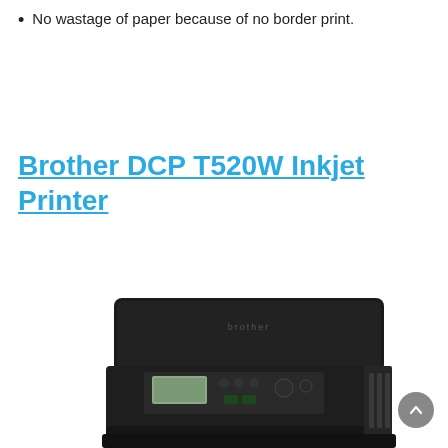No wastage of paper because of no border print.
Brother DCP T520W Inkjet Printer
[Figure (photo): Photo of a Brother DCP T520W inkjet printer, dark/black body, front view showing control panel with LCD display and buttons, partially cropped at bottom of page.]